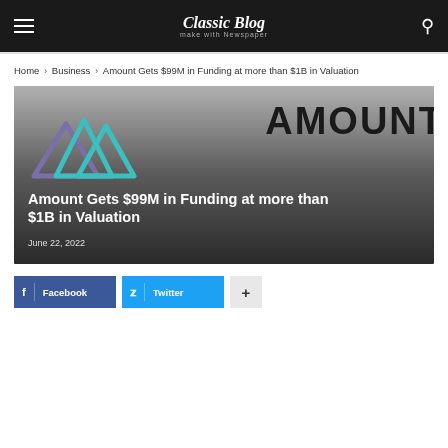Classic Blog
Home › Business › Amount Gets $99M in Funding at more than $1B in Valuation
[Figure (screenshot): Amount company logo on a dark gradient background. The logo shows stylized mountain peaks in teal/purple colors on the left, and the word AMOUNT in large bold dark letters on the right. Overlaid text reads 'Amount Gets $99M in Funding at more than $1B in Valuation' and date 'June 22, 2022'.]
Facebook  Twitter  +